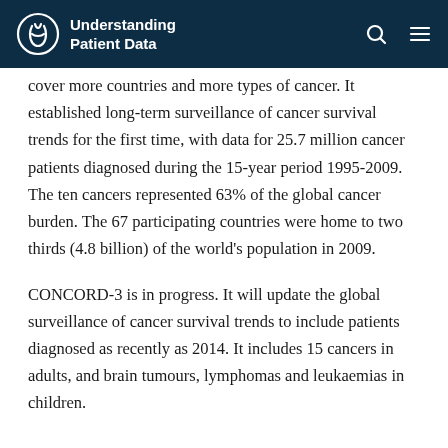Understanding Patient Data
cover more countries and more types of cancer. It established long-term surveillance of cancer survival trends for the first time, with data for 25.7 million cancer patients diagnosed during the 15-year period 1995-2009. The ten cancers represented 63% of the global cancer burden. The 67 participating countries were home to two thirds (4.8 billion) of the world's population in 2009.
CONCORD-3 is in progress. It will update the global surveillance of cancer survival trends to include patients diagnosed as recently as 2014. It includes 15 cancers in adults, and brain tumours, lymphomas and leukaemias in children.